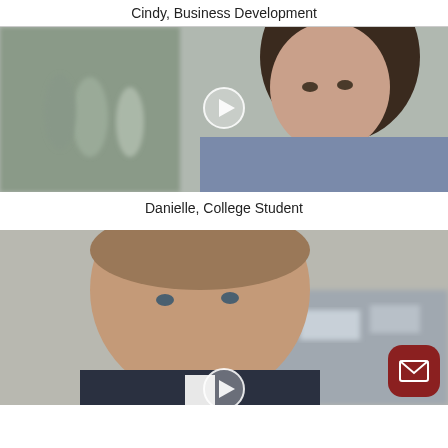Cindy, Business Development
[Figure (photo): Video thumbnail of a young woman (Danielle) on a street, with a play button overlay]
Danielle, College Student
[Figure (photo): Video thumbnail of a man on a street, with a play button overlay and a mail button in the bottom right corner]